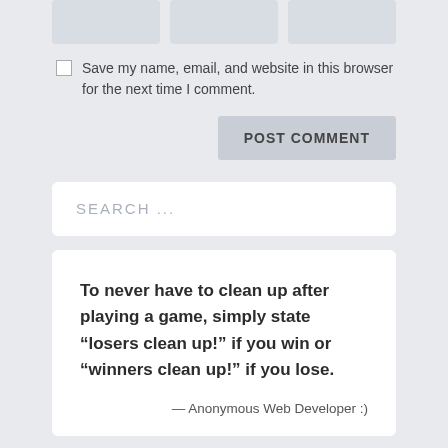[Figure (other): Three grey input field boxes at top of page]
Save my name, email, and website in this browser for the next time I comment.
POST COMMENT
SEARCH ...
To never have to clean up after playing a game, simply state “losers clean up!” if you win or “winners clean up!” if you lose.
— Anonymous Web Developer :)